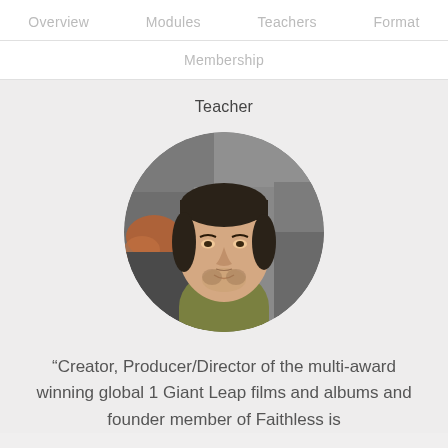Overview   Modules   Teachers   Format
Membership
Teacher
[Figure (photo): Circular portrait photo of a man with short dark hair and a beard, wearing an olive/khaki t-shirt, photographed against a stone wall background.]
“Creator, Producer/Director of the multi-award winning global 1 Giant Leap films and albums and founder member of Faithless is